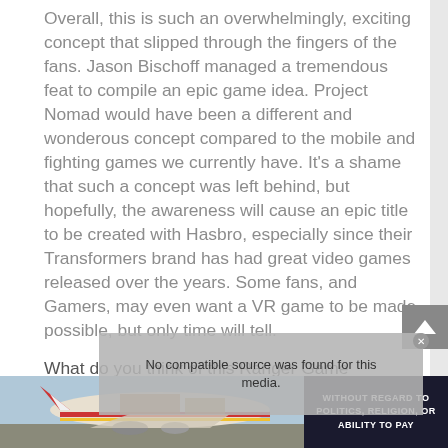Overall, this is such an overwhelmingly, exciting concept that slipped through the fingers of the fans. Jason Bischoff managed a tremendous feat to compile an epic game idea. Project Nomad would have been a different and wonderous concept compared to the mobile and fighting games we currently have. It’s a shame that such a concept was left behind, but hopefully, the awareness will cause an epic title to be created with Hasbro, especially since their Transformers brand has had great video games released over the years. Some fans, and Gamers, may even want a VR game to be made possible, but only time will tell.
What do you think of this Ranger Game Concept? Do you think Project Nomad was worth making? What do you think would make a perfect Power Rangers Game?
[Figure (screenshot): Video player overlay showing 'No compatible source was found for this media.' message on a grey background]
[Figure (photo): Advertisement banner showing an airplane being loaded with cargo on the left, and a dark navy panel on the right with text 'WITHOUT REGARD TO POLITICS, RELIGION, OR ABILITY TO PAY']